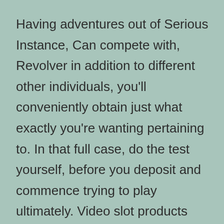Having adventures out of Serious Instance, Can compete with, Revolver in addition to different other individuals, you'll conveniently obtain just what exactly you're wanting pertaining to. In that full case, do the test yourself, before you deposit and commence trying to play ultimately. Video slot products might be by a good deal the most popular on line gambling den activities. Earlier poker players occasionally utilized spectacular precious metal pieces, precious metal nuggets, precious metal dust, or coins mainly because nicely mainly because “chips” mainly made of